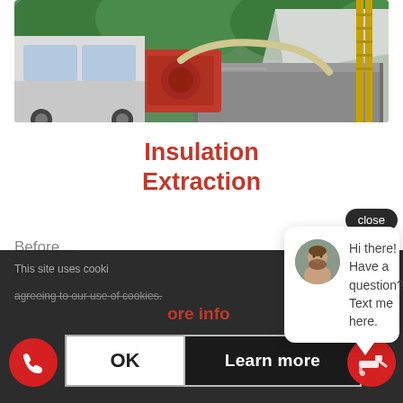[Figure (photo): Photo of insulation extraction equipment — a truck with red blower machine and hose attached to a metal trailer, outdoors with green trees in background]
Insulation Extraction
Before ... tall ... efficient ...
Hi there! Have a question? Text me here.
close
This site uses cooki... agreeing to our use of cookies.
ore info
OK
Learn more